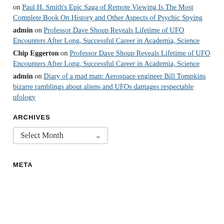on Paul H. Smith's Epic Saga of Remote Viewing Is The Most Complete Book On History and Other Aspects of Psychic Spying
admin on Professor Dave Shoup Reveals Lifetime of UFO Encounters After Long, Successful Career in Academia, Science
Chip Eggerton on Professor Dave Shoup Reveals Lifetime of UFO Encounters After Long, Successful Career in Academia, Science
admin on Diary of a mad man: Aerospace engineer Bill Tompkins bizarre ramblings about aliens and UFOs damages respectable ufology
ARCHIVES
[Figure (other): Select Month dropdown widget]
META